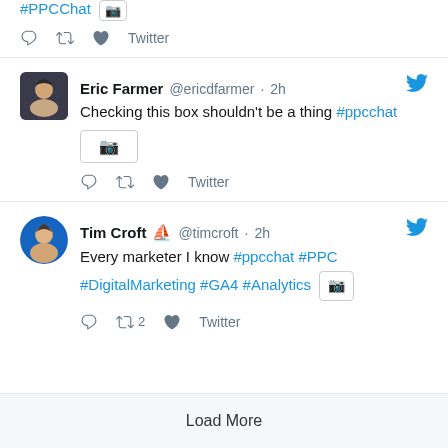#PPCChat [image icon]
[reply] [retweet] [like] Twitter
[Figure (screenshot): Tweet by Eric Farmer @ericdfarmer 2h - Checking this box shouldn't be a thing #ppcchat [image]]
[Figure (screenshot): Tweet by Tim Croft @timcroft 2h - Every marketer I know #ppcchat #PPC #DigitalMarketing #GA4 #Analytics [image]]
Load More